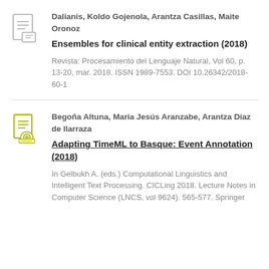Dalianis, Koldo Gojenola, Arantza Casillas, Maite Oronoz
Ensembles for clinical entity extraction (2018)
Revista: Procesamiento del Lenguaje Natural, Vol 60, p. 13-20, mar. 2018. ISSN 1989-7553. DOI 10.26342/2018-60-1
Begoña Altuna, Maria Jesús Aranzabe, Arantza Diaz de Ilarraza
Adapting TimeML to Basque: Event Annotation (2018)
In Gelbukh A. (eds.) Computational Linguistics and Intelligent Text Processing. CICLing 2018. Lecture Notes in Computer Science (LNCS, vol 9624). 565-577. Springer